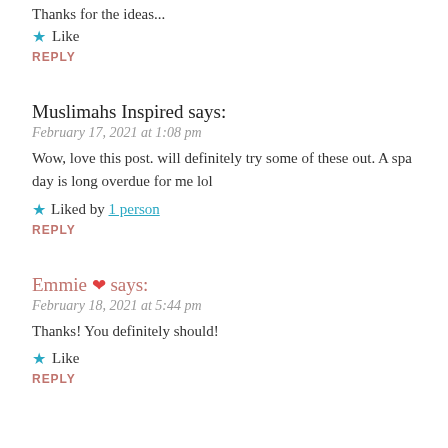Thanks for the ideas...
★ Like
REPLY
Muslimahs Inspired says:
February 17, 2021 at 1:08 pm
Wow, love this post. will definitely try some of these out. A spa day is long overdue for me lol
★ Liked by 1 person
REPLY
Emmie ❤ says:
February 18, 2021 at 5:44 pm
Thanks! You definitely should!
★ Like
REPLY